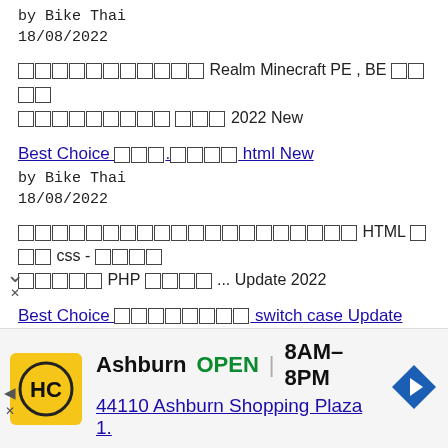by Bike Thai
18/08/2022
□□□□□□□□□□□ Realm Minecraft PE , BE □□□□ □□□□□□□□□ □□□ 2022 New
Best Choice □□□.□□□□ html New
by Bike Thai
18/08/2022
□□□□□□□□□□□□□□□□□□□□ HTML □□□ css - □□□□ □□□□□ PHP □□□□ ... Update 2022
Best Choice □□□□□□□□ switch case Update
by Bike Thai
18/08/2022
□□□□□□□ switch case □□□□□□□ C - MarcusCode
v 2022
[Figure (infographic): Advertisement banner: HC logo (yellow background with HC letters), Ashburn OPEN 8AM-8PM, 44110 Ashburn Shopping Plaza 1., navigation arrow icon]